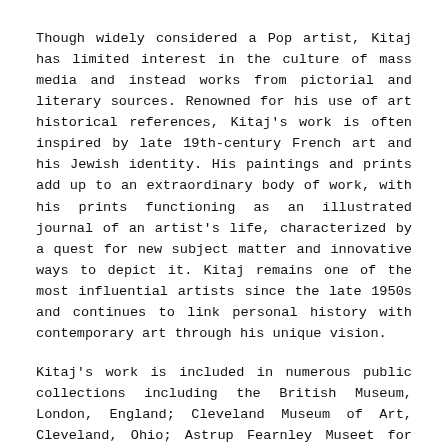Though widely considered a Pop artist, Kitaj has limited interest in the culture of mass media and instead works from pictorial and literary sources. Renowned for his use of art historical references, Kitaj's work is often inspired by late 19th-century French art and his Jewish identity. His paintings and prints add up to an extraordinary body of work, with his prints functioning as an illustrated journal of an artist's life, characterized by a quest for new subject matter and innovative ways to depict it. Kitaj remains one of the most influential artists since the late 1950s and continues to link personal history with contemporary art through his unique vision.
Kitaj's work is included in numerous public collections including the British Museum, London, England; Cleveland Museum of Art, Cleveland, Ohio; Astrup Fearnley Museet for Moderne Kunst, Oslo; Israel Museum, Jerusalem, Israel; Kunstmuseum, Düsseldorf, Germany; The Metropolitan Museum of Art, New York; Musée National d'Art Moderne, Centre Georges Pompidou, Paris, France; Musco Nacional